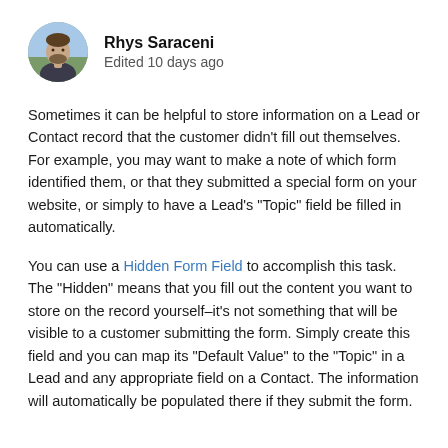[Figure (photo): Circular avatar photo of Rhys Saraceni, a man with a beard outdoors]
Rhys Saraceni
Edited 10 days ago
Sometimes it can be helpful to store information on a Lead or Contact record that the customer didn't fill out themselves. For example, you may want to make a note of which form identified them, or that they submitted a special form on your website, or simply to have a Lead's "Topic" field be filled in automatically.
You can use a Hidden Form Field to accomplish this task. The "Hidden" means that you fill out the content you want to store on the record yourself–it's not something that will be visible to a customer submitting the form. Simply create this field and you can map its "Default Value" to the "Topic" in a Lead and any appropriate field on a Contact. The information will automatically be populated there if they submit the form.